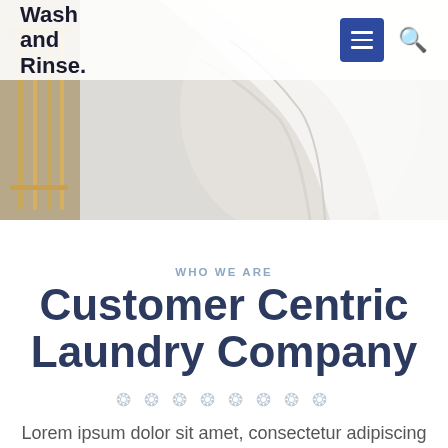[Figure (photo): Hero image showing laundry/linen scene with a person holding white fabric and a gold laundry rack in the background]
Wash and Rinse.
WHO WE ARE
Customer Centric Laundry Company
Lorem ipsum dolor sit amet, consectetur adipiscing